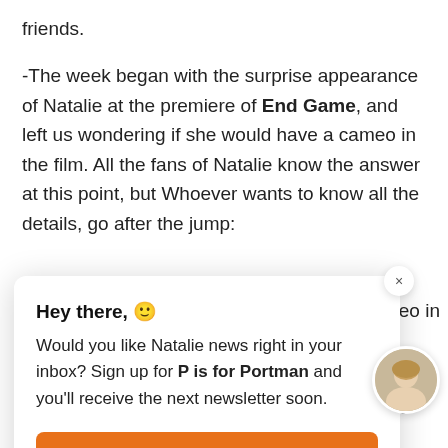friends.
-The week began with the surprise appearance of Natalie at the premiere of End Game, and left us wondering if she would have a cameo in the film. All the fans of Natalie know the answer at this point, but Whoever wants to know all the details, go after the jump:
Hey there, 🙂
Would you like Natalie news right in your inbox? Sign up for P is for Portman and you'll receive the next newsletter soon.
Sign me up →